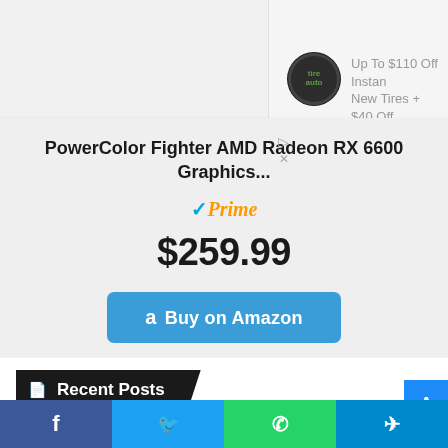[Figure (screenshot): Ad banner showing Tire Auto logo and text: Up To $110 Off Instant New Tires + $40 Off Alignments]
Up To $110 Off Instant New Tires + $40 Off Alignments
PowerColor Fighter AMD Radeon RX 6600 Graphics...
[Figure (logo): Amazon Prime badge with checkmark and Prime text]
$259.99
Buy on Amazon
Recent Posts
Build the Best Cheap Gaming PC in
Facebook | Twitter | WhatsApp | Telegram